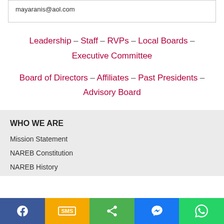mayaranis@aol.com
Leadership – Staff – RVPs – Local Boards – Executive Committee
Board of Directors – Affiliates – Past Presidents – Advisory Board
WHO WE ARE
Mission Statement
NAREB Constitution
NAREB History
Social share bar: Facebook, SMS, Share, Messenger, WhatsApp